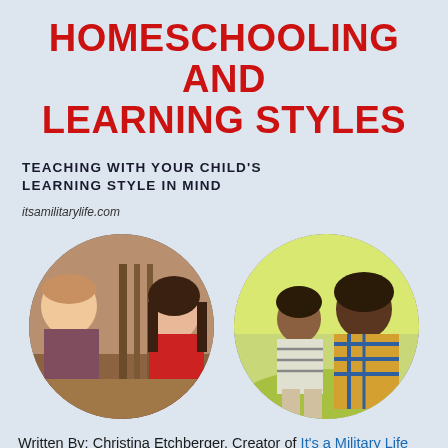HOMESCHOOLING AND LEARNING STYLES
TEACHING WITH YOUR CHILD'S LEARNING STYLE IN MIND
itsamilitarylife.com
[Figure (photo): Two children talking across a wooden railing indoors, a boy and a girl in a red sweater]
[Figure (photo): A child and an adult sitting outdoors in sunny grass, the adult wearing a plaid shirt]
Written By: Christina Etchberger, Creator of It's a Military Life